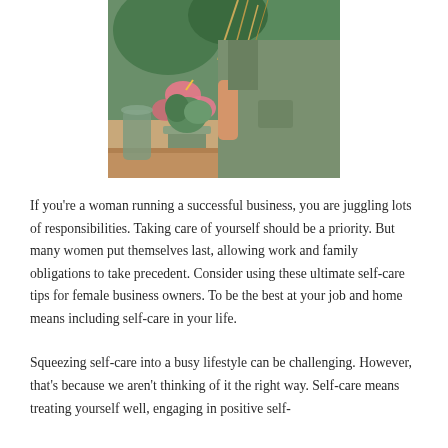[Figure (photo): Woman in olive green apron standing near a wooden counter with potted plants and flowers including pink anthuriums, holding a plant]
If you're a woman running a successful business, you are juggling lots of responsibilities. Taking care of yourself should be a priority. But many women put themselves last, allowing work and family obligations to take precedent. Consider using these ultimate self-care tips for female business owners. To be the best at your job and home means including self-care in your life.
Squeezing self-care into a busy lifestyle can be challenging. However, that's because we aren't thinking of it the right way. Self-care means treating yourself well, engaging in positive self-